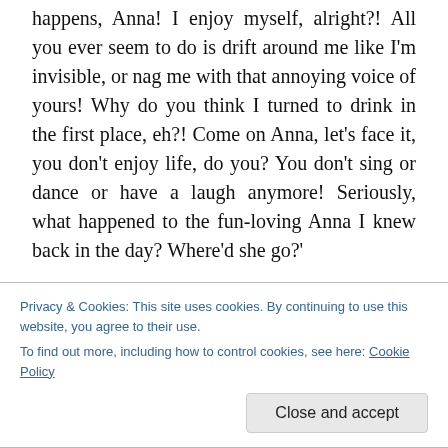happens, Anna! I enjoy myself, alright?! All you ever seem to do is drift around me like I'm invisible, or nag me with that annoying voice of yours! Why do you think I turned to drink in the first place, eh?! Come on Anna, let's face it, you don't enjoy life, do you? You don't sing or dance or have a laugh anymore! Seriously, what happened to the fun-loving Anna I knew back in the day? Where'd she go?'
'The Anna you once knew disappeared a while back, Danny; when she realised that her husband would never change and would always choose drink over her. I think
Privacy & Cookies: This site uses cookies. By continuing to use this website, you agree to their use.
To find out more, including how to control cookies, see here: Cookie Policy